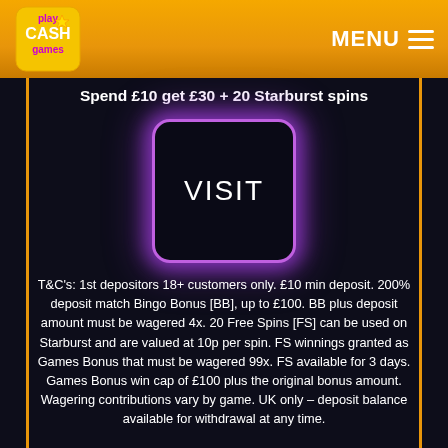[Figure (logo): Play Cash Games logo in top-left of golden header bar]
MENU ☰
Spend £10 get £30 + 20 Starburst spins
[Figure (illustration): Purple neon glowing square button with the word VISIT in white text]
T&C's: 1st depositors 18+ customers only. £10 min deposit. 200% deposit match Bingo Bonus [BB], up to £100. BB plus deposit amount must be wagered 4x. 20 Free Spins [FS] can be used on Starburst and are valued at 10p per spin. FS winnings granted as Games Bonus that must be wagered 99x. FS available for 3 days. Games Bonus win cap of £100 plus the original bonus amount. Wagering contributions vary by game. UK only – deposit balance available for withdrawal at any time.